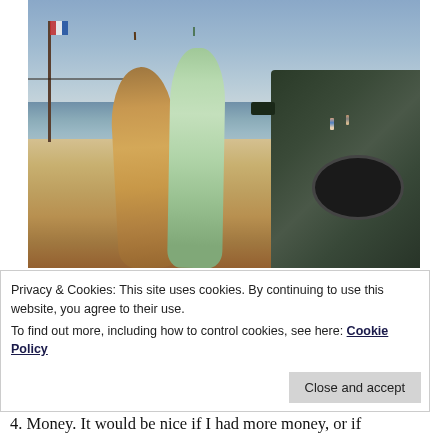[Figure (photo): Beach scene with two surfboards (one wooden, one mint green) leaning against a log, a dark green SUV parked on the sand to the right, two people standing near the water in the distance, a volleyball net post with a flag on the left, ocean waves and cloudy blue sky in the background.]
Privacy & Cookies: This site uses cookies. By continuing to use this website, you agree to their use.
To find out more, including how to control cookies, see here: Cookie Policy
Close and accept
4. Money. It would be nice if I had more money, or if